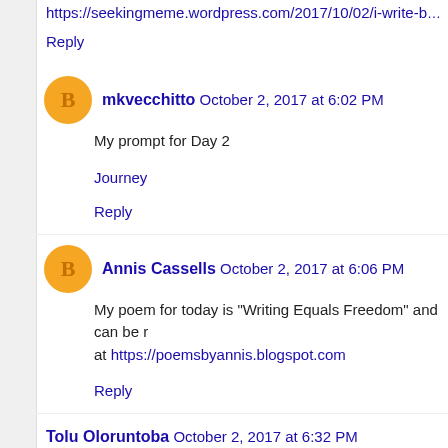https://seekingmeme.wordpress.com/2017/10/02/i-write-becc...
Reply
mkvecchitto  October 2, 2017 at 6:02 PM
My prompt for Day 2
Journey
Reply
Annis Cassells  October 2, 2017 at 6:06 PM
My poem for today is "Writing Equals Freedom" and can be read at https://poemsbyannis.blogspot.com
Reply
Tolu Oloruntoba  October 2, 2017 at 6:32 PM
'Bloodletting'
https://medium.com/@tolu/bloodletting-b052c21f440e ...